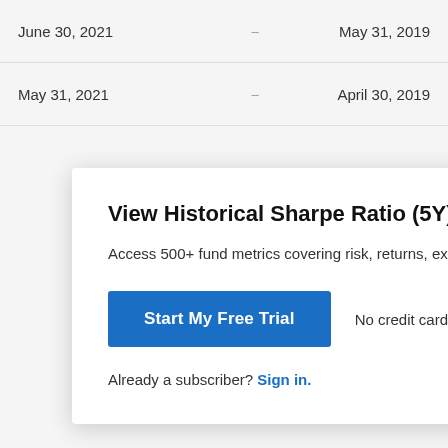| Date |  | Date |
| --- | --- | --- |
| June 30, 2021 | -- | May 31, 2019 |
| May 31, 2021 | -- | April 30, 2019 |
| November 30, 2020 | -- | October 31, 2… |
| October 31, 2020 | -- | September 30, … |
| September 30, 2020 | -- | August 31, 2018 |
| August 31, 2020 | -- | July 31, 2018 |
View Historical Sharpe Ratio (5Y) for GIIAX
Access 500+ fund metrics covering risk, returns, exposu…
Start My Free Trial
No credit card required.
Already a subscriber? Sign in.